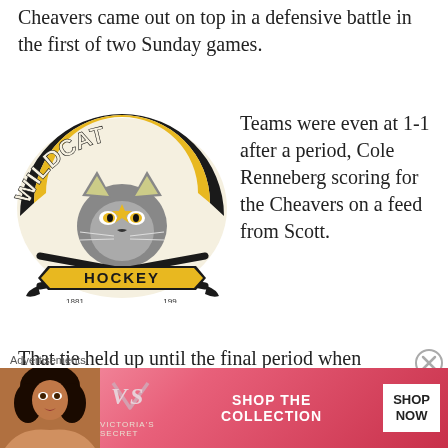Cheavers came out on top in a defensive battle in the first of two Sunday games.
[Figure (logo): Wildcat Hockey logo with panther head, crossed hockey sticks, and banner reading HOCKEY]
Teams were even at 1-1 after a period, Cole Renneberg scoring for the Cheavers on a feed from Scott.
That tie held up until the final period when Brayden Potter notched the game winner and Renneberg picked up the
Advertisements
[Figure (other): Victoria's Secret advertisement banner with model photo, VS logo, text SHOP THE COLLECTION, and SHOP NOW button]